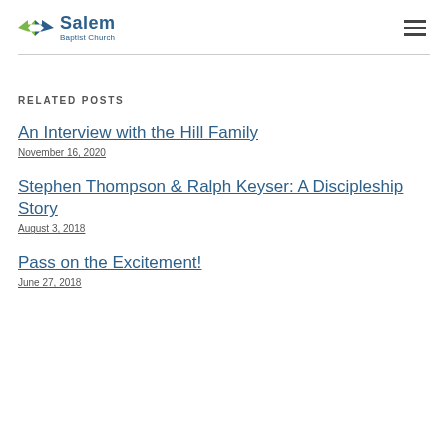Salem Baptist Church
RELATED POSTS
An Interview with the Hill Family
November 16, 2020
Stephen Thompson & Ralph Keyser: A Discipleship Story
August 3, 2018
Pass on the Excitement!
June 27, 2018